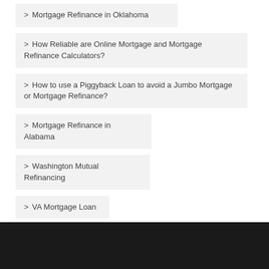Mortgage Refinance in Oklahoma
How Reliable are Online Mortgage and Mortgage Refinance Calculators?
How to use a Piggyback Loan to avoid a Jumbo Mortgage or Mortgage Refinance?
Mortgage Refinance in Alabama
Washington Mutual Refinancing
VA Mortgage Loan
10 steps guide to Mortgage Refinancing in Kansas
Looking for Mortgage Refinancing in Delaware